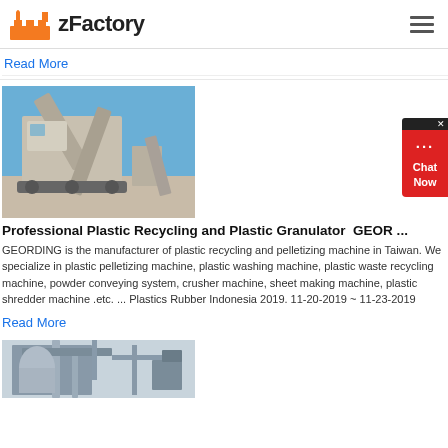zFactory
Read More
[Figure (photo): Industrial plastic recycling and granulator machine outdoors against blue sky]
Professional Plastic Recycling and Plastic Granulator  GEOR ...
GEORDING is the manufacturer of plastic recycling and pelletizing machine in Taiwan. We specialize in plastic pelletizing machine, plastic washing machine, plastic waste recycling machine, powder conveying system, crusher machine, sheet making machine, plastic shredder machine .etc. ... Plastics Rubber Indonesia 2019. 11-20-2019 ~ 11-23-2019
Read More
[Figure (photo): Industrial factory machinery and conveyor structures, partial view]